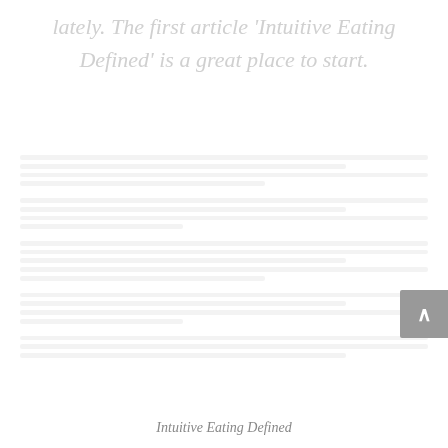lately. The first article 'Intuitive Eating Defined' is a great place to start.
[Figure (other): Faded/blurred body of article text, not readable, appearing as light gray lines representing text content]
Intuitive Eating Defined